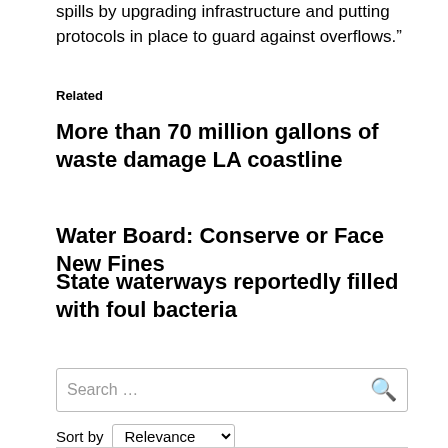spills by upgrading infrastructure and putting protocols in place to guard against overflows.”
Related
More than 70 million gallons of waste damage LA coastline
Water Board: Conserve or Face New Fines
State waterways reportedly filled with foul bacteria